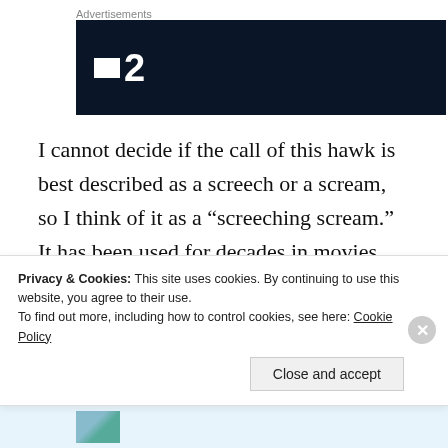Advertisements
[Figure (logo): Dark navy/black banner ad with white square icon and bold white number 2, resembling a TV channel logo (Planet 2 or similar)]
I cannot decide if the call of this hawk is best described as a screech or a scream, so I think of it as a “screeching scream.” It has been used for decades in movies and on TV to depict the scary call of any large raptor, including
Privacy & Cookies: This site uses cookies. By continuing to use this website, you agree to their use.
To find out more, including how to control cookies, see here: Cookie Policy
Close and accept